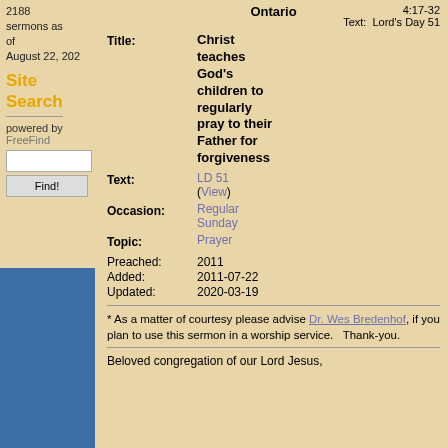2188 sermons as of August 22, 202
Site Search
powered by FreeFind
Ontario
4:17-32
Text: Lord's Day 51
Title: Christ teaches God's children to regularly pray to their Father for forgiveness
Text: LD 51 (View)
Occasion: Regular Sunday
Topic: Prayer
Preached: 2011
Added: 2011-07-22
Updated: 2020-03-19
* As a matter of courtesy please advise Dr. Wes Bredenhof, if you plan to use this sermon in a worship service.   Thank-you.
Beloved congregation of our Lord Jesus,